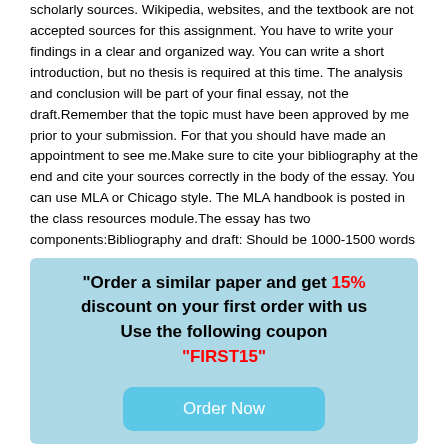scholarly sources. Wikipedia, websites, and the textbook are not accepted sources for this assignment. You have to write your findings in a clear and organized way. You can write a short introduction, but no thesis is required at this time. The analysis and conclusion will be part of your final essay, not the draft.Remember that the topic must have been approved by me prior to your submission. For that you should have made an appointment to see me.Make sure to cite your bibliography at the end and cite your sources correctly in the body of the essay. You can use MLA or Chicago style. The MLA handbook is posted in the class resources module.The essay has two components:Bibliography and draft: Should be 1000-1500 words
[Figure (infographic): Light blue promotional box with bold text: '"Order a similar paper and get 15% discount on your first order with us Use the following coupon "FIRST15"' and a blue rounded 'Order Now' button.]